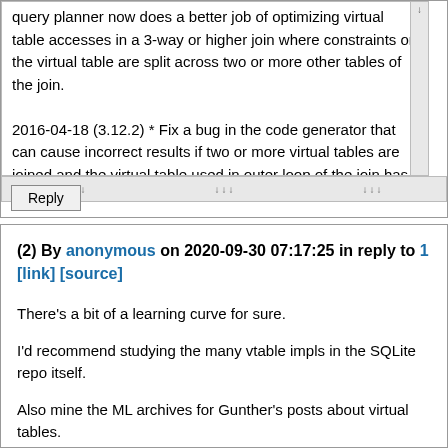query planner now does a better job of optimizing virtual table accesses in a 3-way or higher join where constraints on the virtual table are split across two or more other tables of the join.

2016-04-18 (3.12.2) * Fix a bug in the code generator that can cause incorrect results if two or more virtual tables are joined and the virtual table used in outer loop of the join has
Reply
(2) By anonymous on 2020-09-30 07:17:25 in reply to 1 [link] [source]
There's a bit of a learning curve for sure.

I'd recommend studying the many vtable impls in the SQLite repo itself.

Also mine the ML archives for Gunther's posts about virtual tables.
Beside Richard and Dan, he's one of the authority on them on this forum.